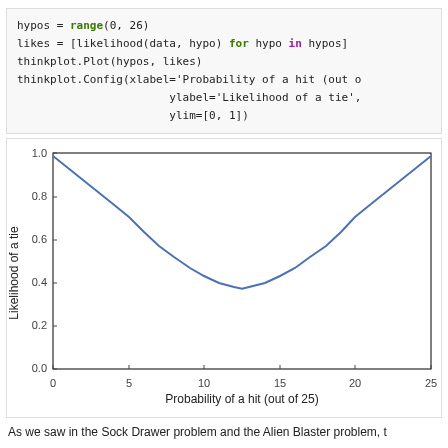hypos = range(0, 26)
likes = [likelihood(data, hypo) for hypo in hypos]
thinkplot.Plot(hypos, likes)
thinkplot.Config(xlabel='Probability of a hit (out o...
                       ylabel='Likelihood of a tie',
                       ylim=[0, 1])
[Figure (continuous-plot): U-shaped curve showing Likelihood of a tie (y-axis, 0.0 to 1.0) vs Probability of a hit out of 25 (x-axis, 0 to 25). Curve starts near 1.0 at x=0, dips to minimum ~0.37 around x=12-13, then rises back to near 1.0 at x=25.]
As we saw in the Sock Drawer problem and the Alien Blaster problem, t...